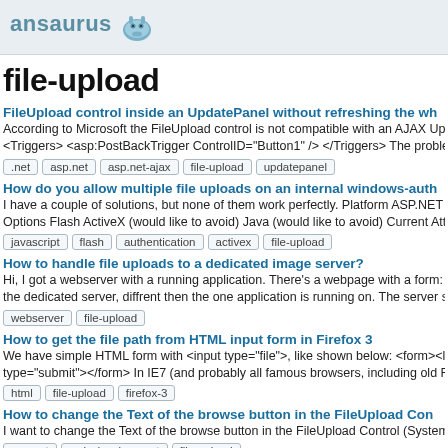ansaurus
file-upload
FileUpload control inside an UpdatePanel without refreshing the wh...
According to Microsoft the FileUpload control is not compatible with an AJAX Update... <Triggers> <asp:PostBackTrigger ControlID="Button1" /> </Triggers> The problem is...
.net  asp.net  asp.net-ajax  file-upload  updatepanel
How do you allow multiple file uploads on an internal windows-auth...
I have a couple of solutions, but none of them work perfectly. Platform ASP.NET / VB... Options Flash ActiveX (would like to avoid) Java (would like to avoid) Current Attemp...
javascript  flash  authentication  activex  file-upload
How to handle file uploads to a dedicated image server?
Hi, I got a webserver with a running application. There's a webpage with a form: som... the dedicated server, diffrent then the one application is running on. The server shou...
webserver  file-upload
How to get the file path from HTML input form in Firefox 3
We have simple HTML form with <input type="file">, like shown below: <form><label... type="submit"></form> In IE7 (and probably all famous browsers, including old Firefo...
html  file-upload  firefox-3
How to change the Text of the browse button in the FileUpload Con...
I want to change the Text of the browse button in the FileUpload Control (System.We...
asp.net  web-development  file-upload